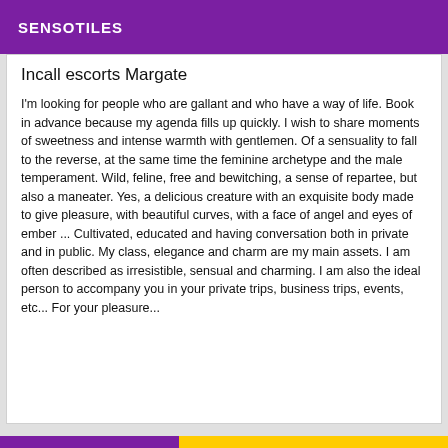SENSOTILES
Incall escorts Margate
I'm looking for people who are gallant and who have a way of life. Book in advance because my agenda fills up quickly. I wish to share moments of sweetness and intense warmth with gentlemen. Of a sensuality to fall to the reverse, at the same time the feminine archetype and the male temperament. Wild, feline, free and bewitching, a sense of repartee, but also a maneater. Yes, a delicious creature with an exquisite body made to give pleasure, with beautiful curves, with a face of angel and eyes of ember ... Cultivated, educated and having conversation both in private and in public. My class, elegance and charm are my main assets. I am often described as irresistible, sensual and charming. I am also the ideal person to accompany you in your private trips, business trips, events, etc... For your pleasure...